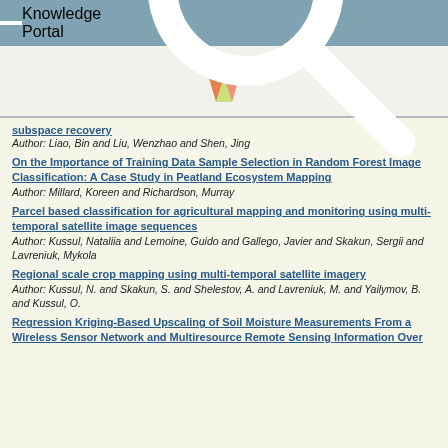Knowledge Portal
[Figure (logo): Colorful geometric diamond/crystal logo made of triangular facets in green, yellow, orange, and pink on a light background]
subspace recovery
Author: Liao, Bin and Liu, Wenzhao and Shen, Jing
On the Importance of Training Data Sample Selection in Random Forest Image Classification: A Case Study in Peatland Ecosystem Mapping
Author: Millard, Koreen and Richardson, Murray
Parcel based classification for agricultural mapping and monitoring using multi-temporal satellite image sequences
Author: Kussul, Nataliia and Lemoine, Guido and Gallego, Javier and Skakun, Sergii and Lavreniuk, Mykola
Regional scale crop mapping using multi-temporal satellite imagery
Author: Kussul, N. and Skakun, S. and Shelestov, A. and Lavreniuk, M. and Yailymov, B. and Kussul, O.
Regression Kriging-Based Upscaling of Soil Moisture Measurements From a Wireless Sensor Network and Multiresource Remote Sensing Information Over